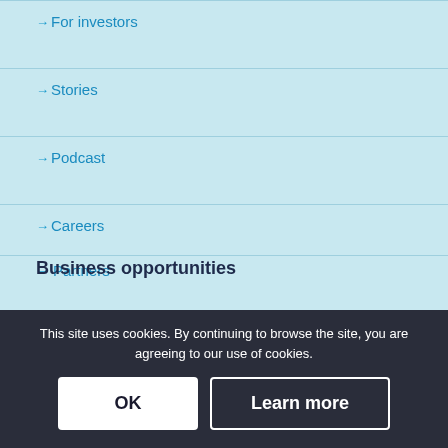→ For investors
→ Stories
→ Podcast
→ Careers
→ Partners
Business opportunities
→ Artificial intelligence
→ Circular economy
→ Cyber security
→ Data centers
This site uses cookies. By continuing to browse the site, you are agreeing to our use of cookies.